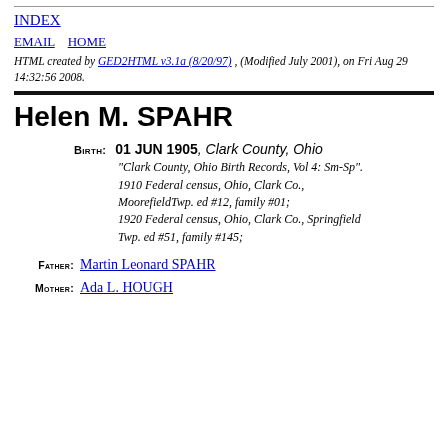INDEX
EMAIL   HOME
HTML created by GED2HTML v3.1a (8/20/97) , (Modified July 2001), on Fri Aug 29 14:32:56 2008.
Helen M. SPAHR
BIRTH: 01 JUN 1905, Clark County, Ohio
"Clark County, Ohio Birth Records, Vol 4: Sm-Sp". 1910 Federal census, Ohio, Clark Co., MoorefieldTwp. ed #12, family #01; 1920 Federal census, Ohio, Clark Co., Springfield Twp. ed #51, family #145;
FATHER: Martin Leonard SPAHR
MOTHER: Ada L. HOUGH